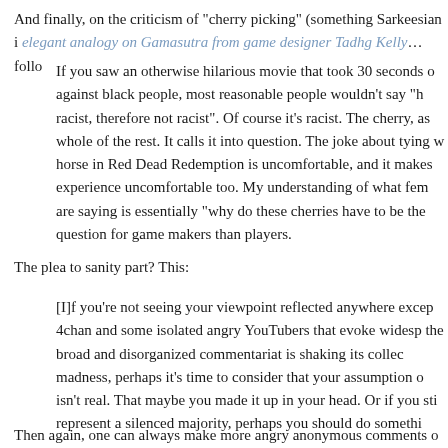And finally, on the criticism of "cherry picking" (something Sarkeesian i elegant analogy on Gamasutra from game designer Tadhg Kelly… follo
If you saw an otherwise hilarious movie that took 30 seconds o against black people, most reasonable people wouldn't say "h racist, therefore not racist". Of course it's racist. The cherry, as whole of the rest. It calls it into question. The joke about tying w horse in Red Dead Redemption is uncomfortable, and it makes experience uncomfortable too. My understanding of what fem are saying is essentially "why do these cherries have to be the question for game makers than players.
The plea to sanity part? This:
[I]f you're not seeing your viewpoint reflected anywhere excep 4chan and some isolated angry YouTubers that evoke widesp the broad and disorganized commentariat is shaking its collec madness, perhaps it's time to consider that your assumption o isn't real. That maybe you made it up in your head. Or if you sti represent a silenced majority, perhaps you should do somethi
Then again, one can always make more angry anonymous comments o